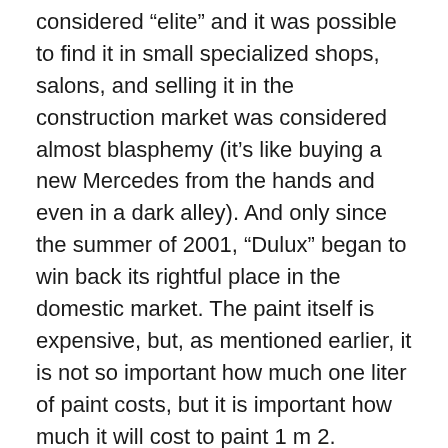considered “elite” and it was possible to find it in small specialized shops, salons, and selling it in the construction market was considered almost blasphemy (it’s like buying a new Mercedes from the hands and even in a dark alley). And only since the summer of 2001, “Dulux” began to win back its rightful place in the domestic market. The paint itself is expensive, but, as mentioned earlier, it is not so important how much one liter of paint costs, but it is important how much it will cost to paint 1 m 2.
Why is Dulux paint so good? How is it different from other paints? – To many. For example, its economy. Only with Dulux paints the consumption per liter reaches 17-18 m 2, (i.e. 2.5 liters is enough for an area of 40 m 2), not to mention varnishes and impregnations for wood where